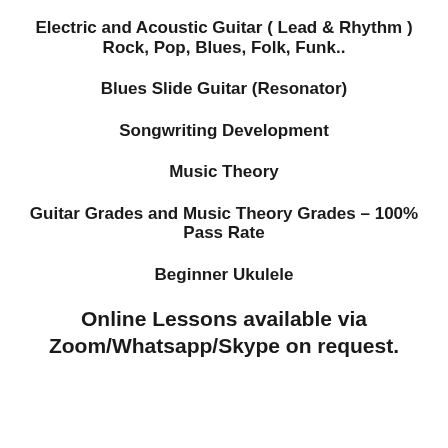Electric and Acoustic Guitar  ( Lead  &  Rhythm )
Rock, Pop, Blues, Folk, Funk..
Blues Slide Guitar (Resonator)
Songwriting Development
Music Theory
Guitar Grades and Music Theory Grades – 100% Pass Rate
Beginner Ukulele
Online Lessons available via Zoom/Whatsapp/Skype on request.